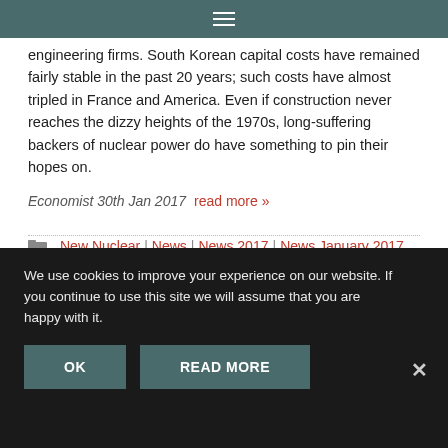≡
engineering firms. South Korean capital costs have remained fairly stable in the past 20 years; such costs have almost tripled in France and America. Even if construction never reaches the dizzy heights of the 1970s, long-suffering backers of nuclear power do have something to pin their hopes on.
Economist 30th Jan 2017   read more »
New Nuclear | News | News 2017 | News January 2017
We use cookies to improve your experience on our website. If you continue to use this site we will assume that you are happy with it.
OK   READ MORE